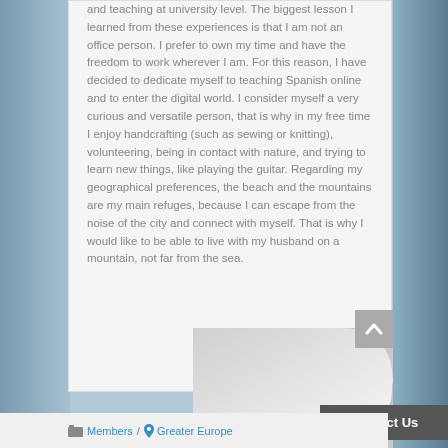and teaching at university level. The biggest lesson I learned from these experiences is that I am not an office person. I prefer to own my time and have the freedom to work wherever I am. For this reason, I have decided to dedicate myself to teaching Spanish online and to enter the digital world. I consider myself a very curious and versatile person, that is why in my free time I enjoy handcrafting (such as sewing or knitting), volunteering, being in contact with nature, and trying to learn new things, like playing the guitar. Regarding my geographical preferences, the beach and the mountains are my main refuges, because I can escape from the noise of the city and connect with myself. That is why I would like to be able to live with my husband on a mountain, not far from the sea.
Members / Greater Europe